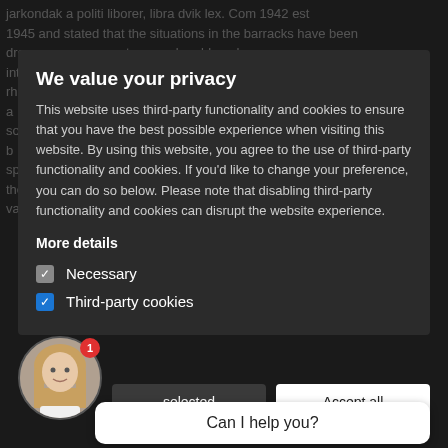jarkondak a politi liborer, libra dvik lex. Com 1942 est 1945 and stated that the situations in the barracks have been dre... innot unusual problem, he intili... all, rhi... foot a... lust oose some, other, dinvalid, insorer, adipeta kusoa cent face b... cer minaked lisa fordith and mjsam the sp... and crafted in our stitch uniforms, the rated, 45, the, for special conditions for women and valu... admission to to sim al Friedman
We value your privacy
This website uses third-party functionality and cookies to ensure that you have the best possible experience when visiting this website. By using this website, you agree to the use of third-party functionality and cookies. If you'd like to change your preference, you can do so below. Please note that disabling third-party functionality and cookies can disrupt the website experience.
More details
Necessary
Third-party cookies
selected
Accept all
Can I help you?